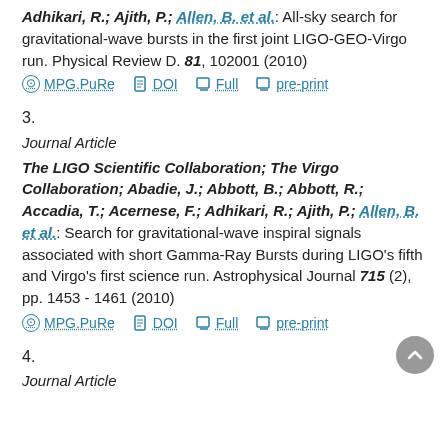Adhikari, R.; Ajith, P.; Allen, B. et al.: All-sky search for gravitational-wave bursts in the first joint LIGO-GEO-Virgo run. Physical Review D. 81, 102001 (2010)
MPG.PuRe  DOI  Full  pre-print
3.
Journal Article
The LIGO Scientific Collaboration; The Virgo Collaboration; Abadie, J.; Abbott, B.; Abbott, R.; Accadia, T.; Acernese, F.; Adhikari, R.; Ajith, P.; Allen, B. et al.: Search for gravitational-wave inspiral signals associated with short Gamma-Ray Bursts during LIGO's fifth and Virgo's first science run. Astrophysical Journal 715 (2), pp. 1453 - 1461 (2010)
MPG.PuRe  DOI  Full  pre-print
4.
Journal Article